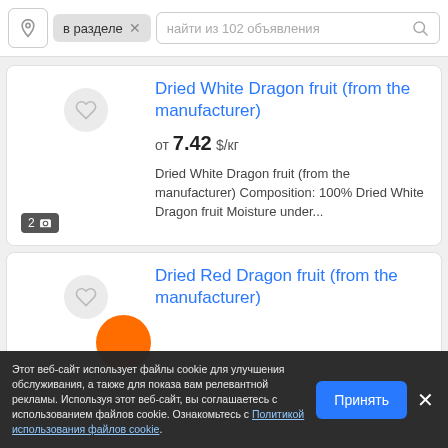[Figure (screenshot): Search bar with location pin icon, 'в разделе' tag with X, and search input 'найти из 102 объявления' with magnifier icon]
Dried White Dragon fruit (from the manufacturer)
от 7.42 $/кг
Dried White Dragon fruit (from the manufacturer) Composition: 100% Dried White Dragon fruit Moisture under...
Dried Red Dragon fruit (from the manufacturer)
Этот веб-сайт использует файлы cookie для улучшения обслуживания, а также для показа вам релевантной рекламы. Используя этот веб-сайт, вы соглашаетесь с использованием файлов cookie. Ознакомьтесь с Политикой использования файлов cookie.